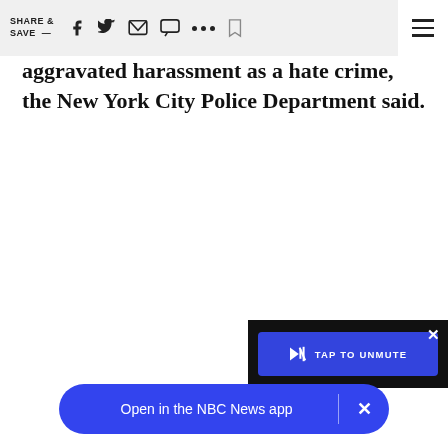SHARE & SAVE —
aggravated harassment as a hate crime, the New York City Police Department said.
[Figure (screenshot): TAP TO UNMUTE video overlay button with close X, dark background]
[Figure (screenshot): Open in the NBC News app blue pill-shaped banner with close X button]